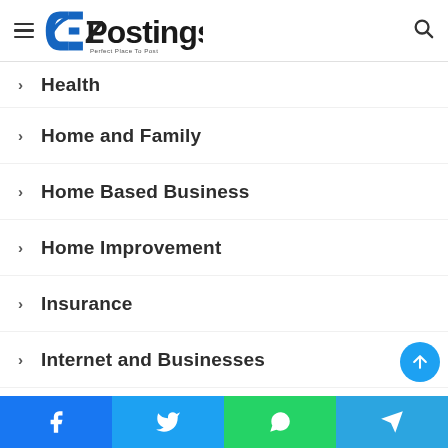EZPostings - Perfect Place To Post
Health
Home and Family
Home Based Business
Home Improvement
Insurance
Internet and Businesses
Job
Kids and Teens
Legal
Lifestyle
Medical
Facebook | Twitter | WhatsApp | Telegram